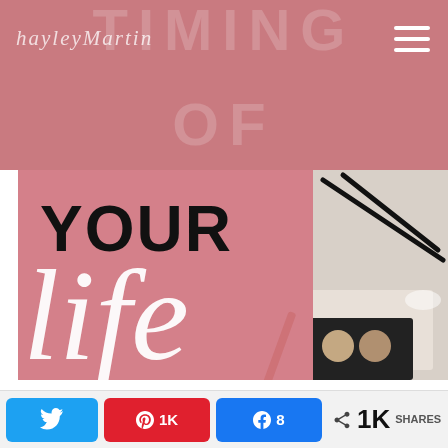hayleyMartin | TIMING OF
[Figure (illustration): Blog header image split into two sections: left pink background with 'YOUR life' text overlay, right photo of makeup palette and glasses on marble surface]
Privacy & Cookies: This site uses cookies. By continuing to use this website, you agree to their use. To find out more, including how to control cookies, see here:
Twitter share | Pinterest 1K | Facebook 8 | 1K SHARES